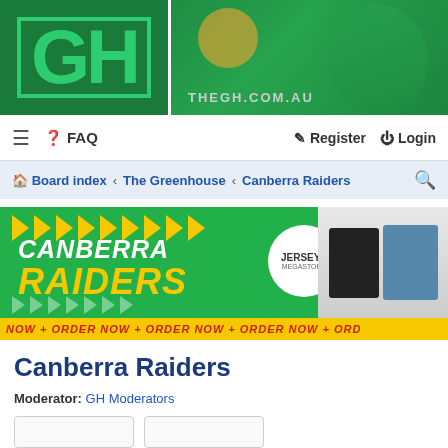[Figure (illustration): The Greenhouse (GH) website header banner with green background, GH logo on left, THEGH.COM.AU URL text, and Canberra Raiders player on right]
≡ ❓ FAQ   Register  Login
Board index < The Greenhouse < Canberra Raiders  🔍
[Figure (illustration): Canberra Raiders Jerseys Megastore advertisement banner with yellow chevrons, green background, CANBERRA RAIDERS text, Jerseys Megastore logo circle, sports apparel products, and ORDER NOW strip at bottom]
Canberra Raiders
Moderator: GH Moderators